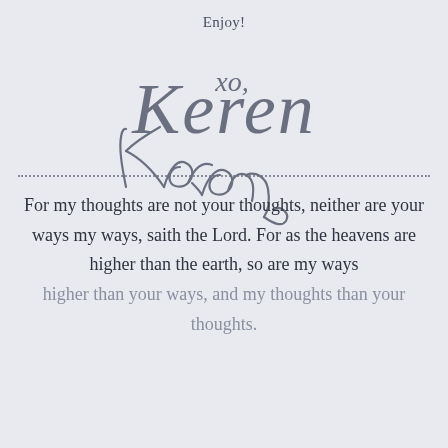Enjoy!
[Figure (illustration): Handwritten cursive signature reading 'xo, Keren' in gray script on light blue-gray background]
For my thoughts are not your thoughts, neither are your ways my ways, saith the Lord. For as the heavens are higher than the earth, so are my ways higher than your ways, and my thoughts than your thoughts.